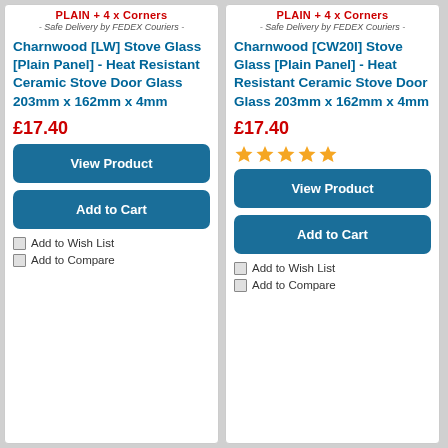PLAIN + 4 x Corners
- Safe Delivery by FEDEX Couriers -
Charnwood [LW] Stove Glass [Plain Panel] - Heat Resistant Ceramic Stove Door Glass 203mm x 162mm x 4mm
£17.40
View Product
Add to Cart
Add to Wish List
Add to Compare
PLAIN + 4 x Corners
- Safe Delivery by FEDEX Couriers -
Charnwood [CW20I] Stove Glass [Plain Panel] - Heat Resistant Ceramic Stove Door Glass 203mm x 162mm x 4mm
£17.40
[Figure (other): 5 orange star rating icons]
View Product
Add to Cart
Add to Wish List
Add to Compare